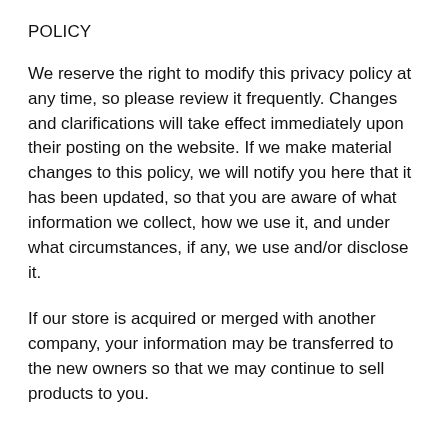POLICY
We reserve the right to modify this privacy policy at any time, so please review it frequently. Changes and clarifications will take effect immediately upon their posting on the website. If we make material changes to this policy, we will notify you here that it has been updated, so that you are aware of what information we collect, how we use it, and under what circumstances, if any, we use and/or disclose it.
If our store is acquired or merged with another company, your information may be transferred to the new owners so that we may continue to sell products to you.